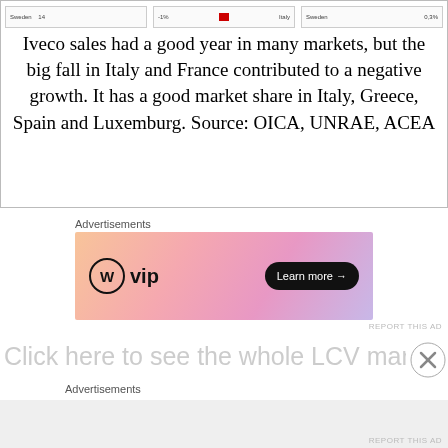[Figure (screenshot): Partial screenshots of tables showing Sweden data row with value 0.3%]
Iveco sales had a good year in many markets, but the big fall in Italy and France contributed to a negative growth. It has a good market share in Italy, Greece, Spain and Luxemburg. Source: OICA, UNRAE, ACEA
Advertisements
[Figure (illustration): WordPress VIP advertisement banner with Learn more button, gradient orange-pink background]
REPORT THIS AD
Click here to see the whole LCV market Europe
Advertisements
REPORT THIS AD